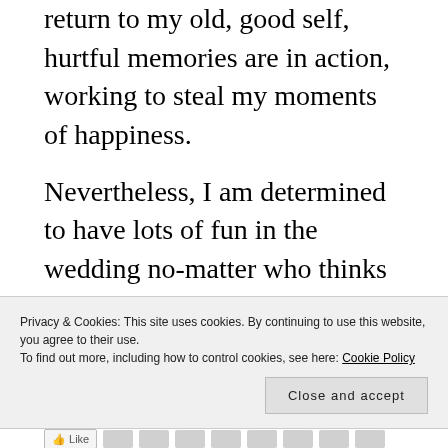return to my old, good self, hurtful memories are in action, working to steal my moments of happiness.
Nevertheless, I am determined to have lots of fun in the wedding no-matter who thinks what or who says whatever.
P.S. – I had dozed off while writing this post last night, hence publishing it in the morning.
Privacy & Cookies: This site uses cookies. By continuing to use this website, you agree to their use.
To find out more, including how to control cookies, see here: Cookie Policy
Close and accept